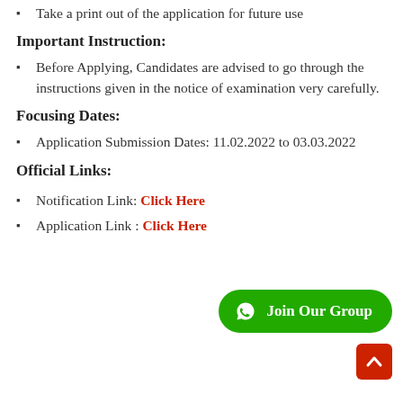Take a print out of the application for future use
Important Instruction:
Before Applying, Candidates are advised to go through the instructions given in the notice of examination very carefully.
Focusing Dates:
Application Submission Dates: 11.02.2022 to 03.03.2022
Official Links:
Notification Link: Click Here
Application Link : Click Here
[Figure (other): Green rounded button with WhatsApp icon and text Join Our Group]
[Figure (other): Orange/red square scroll-to-top button with up arrow]